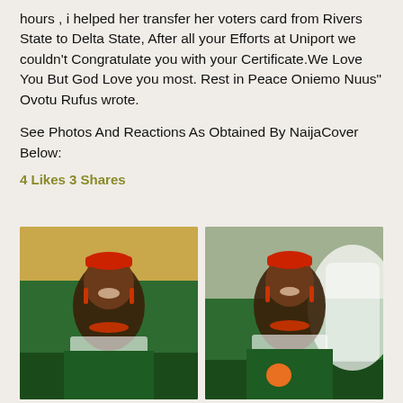hours , i helped her transfer her voters card from Rivers State to Delta State, After all your Efforts at Uniport we couldn't Congratulate you with your Certificate.We Love You But God Love you most. Rest in Peace Oniemo Nuus" Ovotu Rufus wrote.
See Photos And Reactions As Obtained By NaijaCover Below:
4 Likes 3 Shares
[Figure (photo): Two side-by-side photos of a young woman wearing traditional Nigerian attire — a green off-shoulder dress with white lace embroidery, red coral bead necklace and bracelet, and a red traditional cap (okpu ozo). She is smiling in both photos taken outdoors.]